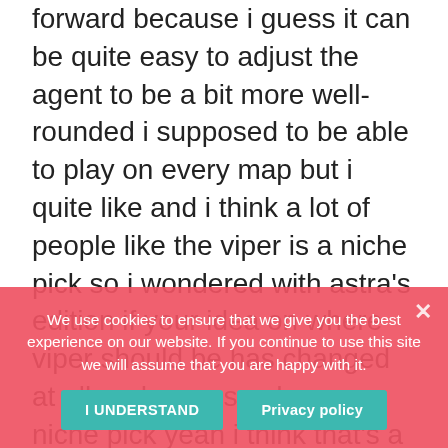forward because i guess it can be quite easy to adjust the agent to be a bit more well-rounded i supposed to be able to play on every map but i quite like and i think a lot of people like the viper is a niche pick so i wondered with astra's edition if your idea on where viper should be has changed at all or do you see her as a niche pick yeah i think that's a great question i think in general we think of her as a little bit more of a niche pick i think a huge component of this is our current map pool.
I think what viper brings to the table you know there's a bunch of she's a bunch of really think of her current and i don't think she's not necessarily as flexible as some of the other characters i think she's often
We use cookies to ensure that we give you the best experience on our website. If you continue to use this site we will assume that you are happy with it.